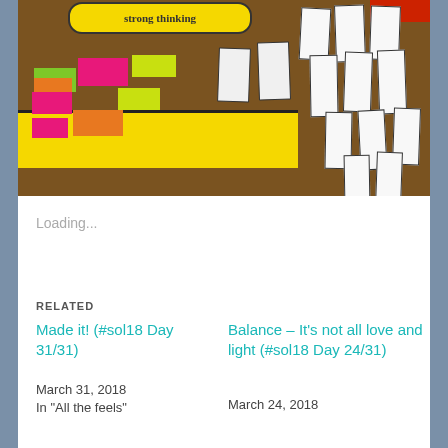[Figure (photo): Classroom bulletin board with colorful sticky notes (pink, orange, green, lime) on a yellow and brown background, with white paper strips on the right side. A yellow speech bubble at top reads 'strong thinking'.]
Loading...
RELATED
Made it! (#sol18 Day 31/31)
March 31, 2018
In "All the feels"
Balance – It's not all love and light (#sol18 Day 24/31)
March 24, 2018